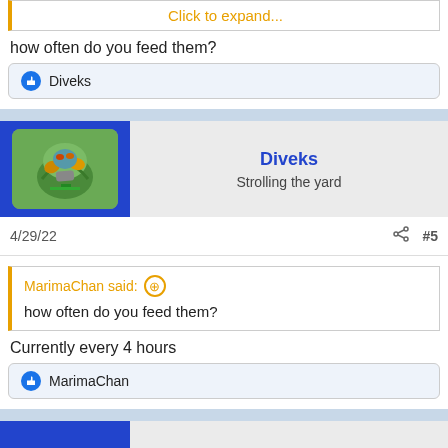Click to expand...
how often do you feed them?
Diveks
Diveks
Strolling the yard
4/29/22
#5
MarimaChan said:
how often do you feed them?
Currently every 4 hours
MarimaChan